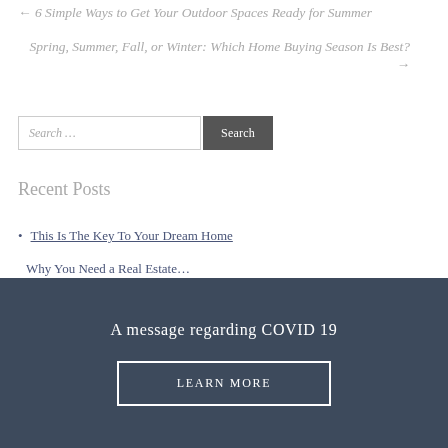← 6 Simple Ways to Get Your Outdoor Spaces Ready for Summer
Spring, Summer, Fall, or Winter: Which Home Buying Season Is Best? →
Search …
Recent Posts
This Is The Key To Your Dream Home
Why You Need a Real Estate…
A message regarding COVID 19
LEARN MORE